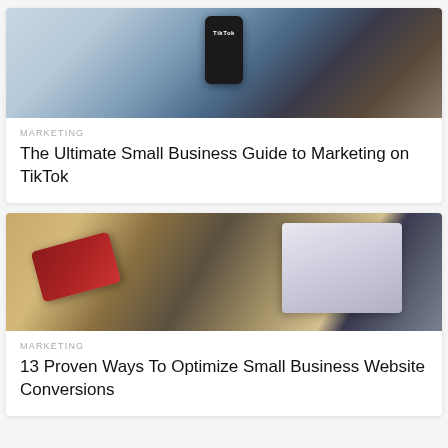[Figure (photo): Person lying on a couch holding a smartphone displaying the TikTok app]
MARKETING
The Ultimate Small Business Guide to Marketing on TikTok
[Figure (photo): Person holding a dark red credit card over a laptop keyboard, with a laptop screen visible in the background]
MARKETING
13 Proven Ways To Optimize Small Business Website Conversions